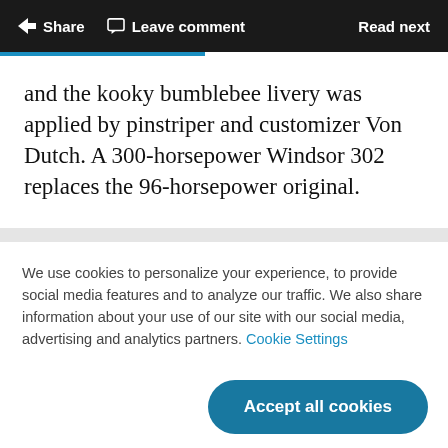Share  Leave comment  Read next
and the kooky bumblebee livery was applied by pinstriper and customizer Von Dutch. A 300-horsepower Windsor 302 replaces the 96-horsepower original.
We use cookies to personalize your experience, to provide social media features and to analyze our traffic. We also share information about your use of our site with our social media, advertising and analytics partners. Cookie Settings
Accept all cookies